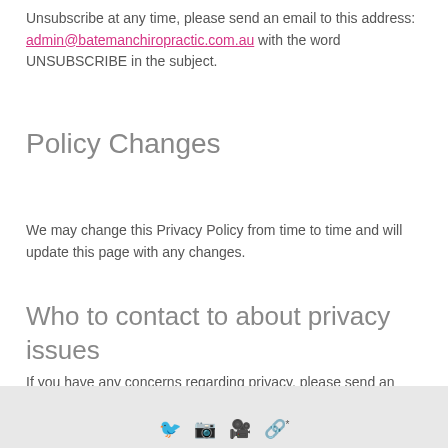Unsubscribe at any time, please send an email to this address: admin@batemanchiropractic.com.au with the word UNSUBSCRIBE in the subject.
Policy Changes
We may change this Privacy Policy from time to time and will update this page with any changes.
Who to contact to about privacy issues
If you have any concerns regarding privacy, please send an email to admin@batemanchiropractic.com.au